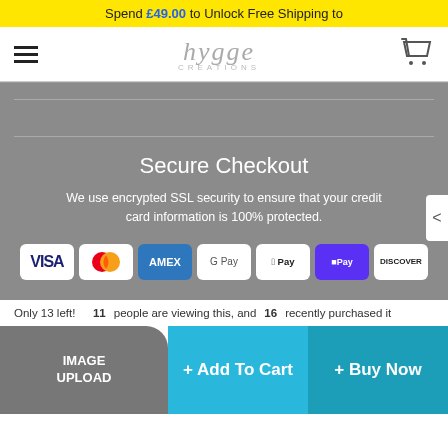Spend £49.00 to Unlock Free Shipping to
[Figure (logo): Hygge Creations logo with hamburger menu and cart icon]
[Figure (infographic): Secure Checkout section with payment method icons (Visa, Mastercard, Amex, Google Pay, Apple Pay, Shop Pay, Discover)]
Secure Checkout
We use encrypted SSL security to ensure that your credit card information is 100% protected.
Only 13 left!   11 people are viewing this, and 16 recently purchased it
IMAGE UPLOAD
+ Add To Cart
+ Buy Now